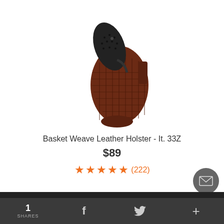[Figure (photo): A basket weave leather holster with a black revolver grip visible at the top. The holster is dark brown with a textured basket weave pattern.]
Basket Weave Leather Holster - It. 33Z
$89
★★★★★ (222)
1 SHARES  f  🐦  +